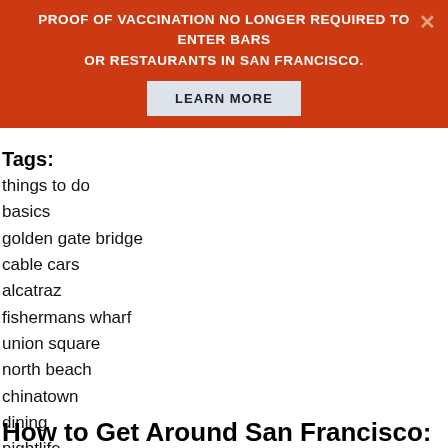[Figure (screenshot): Orange notification banner with text 'PROOF OF VACCINATION NO LONGER REQUIRED TO ENTER BARS OR RESTAURANTS IN SAN FRANCISCO.' and a 'LEARN MORE' button, with an X close button in the upper right.]
Tags:
things to do
basics
golden gate bridge
cable cars
alcatraz
fishermans wharf
union square
north beach
chinatown
dining
nightlife
museums
Read more
How to Get Around San Francisco: